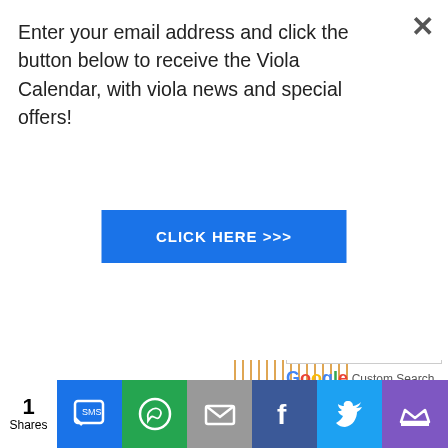Enter your email address and click the button below to receive the Viola Calendar, with viola news and special offers!
CLICK HERE >>>
[Figure (screenshot): Partial website background with vertical orange stripes and Google Custom Search box]
Google Custom Search
Have your say about wha
0 Comments
Sort by N
1 Shares
[Figure (infographic): Social share bar with SMS, WhatsApp, email, Facebook, Twitter, and crown icon buttons]